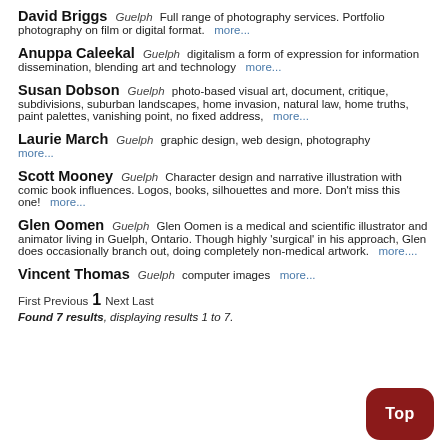David Briggs  Guelph  Full range of photography services. Portfolio photography on film or digital format.  more...
Anuppa Caleekal  Guelph  digitalism a form of expression for information dissemination, blending art and technology  more...
Susan Dobson  Guelph  photo-based visual art, document, critique, subdivisions, suburban landscapes, home invasion, natural law, home truths, paint palettes, vanishing point, no fixed address,  more...
Laurie March  Guelph  graphic design, web design, photography  more...
Scott Mooney  Guelph  Character design and narrative illustration with comic book influences. Logos, books, silhouettes and more. Don't miss this one!  more...
Glen Oomen  Guelph  Glen Oomen is a medical and scientific illustrator and animator living in Guelph, Ontario. Though highly 'surgical' in his approach, Glen does occasionally branch out, doing completely non-medical artwork.  more....
Vincent Thomas  Guelph  computer images  more...
First Previous  1  Next Last
Found 7 results, displaying results 1 to 7.